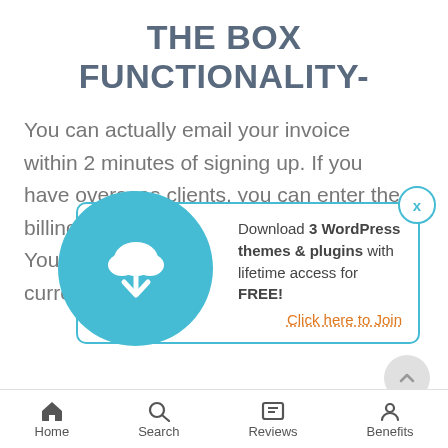THE BOX FUNCTIONALITY-
You can actually email your invoice within 2 minutes of signing up. If you have overseas clients, you can enter the billing amount in the clients' currency. You can also see its equivalent in your currency.
[Figure (infographic): Popup box with teal download cloud icon circle on left, text about downloading 3 WordPress themes & plugins with lifetime access for FREE, orange 'Click here to Join' link, and X close button]
Home  Search  Reviews  Benefits